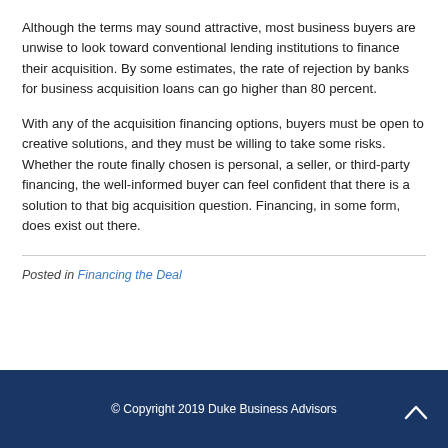Although the terms may sound attractive, most business buyers are unwise to look toward conventional lending institutions to finance their acquisition. By some estimates, the rate of rejection by banks for business acquisition loans can go higher than 80 percent.
With any of the acquisition financing options, buyers must be open to creative solutions, and they must be willing to take some risks. Whether the route finally chosen is personal, a seller, or third-party financing, the well-informed buyer can feel confident that there is a solution to that big acquisition question. Financing, in some form, does exist out there.
Posted in Financing the Deal
© Copyright 2019 Duke Business Advisors